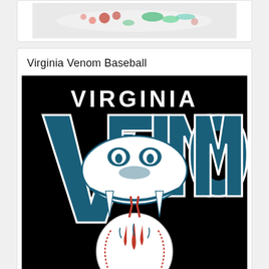[Figure (photo): Partial top card showing vegetables/food items image cropped at top of page]
Virginia Venom Baseball
[Figure (logo): Virginia Venom Baseball team logo: black background with teal and white VENOM lettering, snake face with fangs biting a baseball with red stitching and red venom drips]